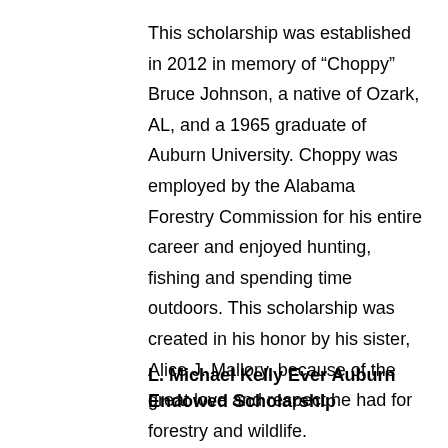This scholarship was established in 2012 in memory of “Choppy” Bruce Johnson, a native of Ozark, AL, and a 1965 graduate of Auburn University. Choppy was employed by the Alabama Forestry Commission for his entire career and enjoyed hunting, fishing and spending time outdoors. This scholarship was created in his honor by his sister, Alice J. Mallory, because of the great love and respect he had for forestry and wildlife.
L. Michael Kelly Ever Auburn Endowed Scholarship